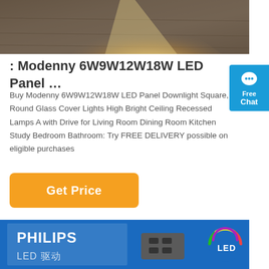[Figure (photo): Photo of a room with a ray of warm light shining diagonally across a wooden floor, dark corners around.]
: Modenny 6W9W12W18W LED Panel …
Buy Modenny 6W9W12W18W LED Panel Downlight Square, Round Glass Cover Lights High Bright Ceiling Recessed Lamps A with Drive for Living Room Dining Room Kitchen Study Bedroom Bathroom: Try FREE DELIVERY possible on eligible purchases
[Figure (other): Orange 'Get Price' button]
[Figure (photo): Philips LED driver product image on blue background with LED badge logo and Chinese text 'LED 驱动']